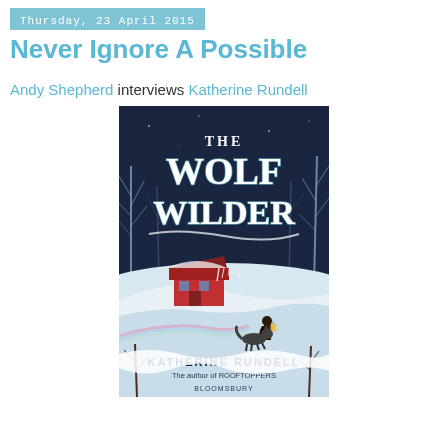Thursday, 23 April 2015
Never Ignore A Possible
Andy Shepherd interviews Katherine Rundell
[Figure (illustration): Book cover of 'The Wolf Wilder' by Katherine Rundell, published by Bloomsbury. The cover features a dark wintry forest scene with bare trees, snow, a red cabin, a girl with a lantern and a wolf, with stylized hand-lettered title text in white. Bottom text reads 'KATHERINE RUNDELL – The author of ROOFTOPPERS – BLOOMSBURY'.]